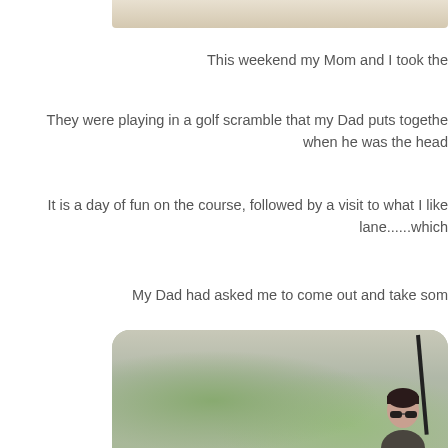[Figure (photo): Partial top edge of a photo, showing a light beige/sandy textured surface, cropped at the top of the page]
This weekend my Mom and I took the
They were playing in a golf scramble that my Dad puts togethe... when he was the head
It is a day of fun on the course, followed by a visit to what I like... lane......which
My Dad had asked me to come out and take som
[Figure (photo): A woman with short dark hair wearing sunglasses, sitting in a golf cart on a golf course. The background shows a green fairway. A dark golf club or pole is visible on the right side. The photo has rounded top corners.]